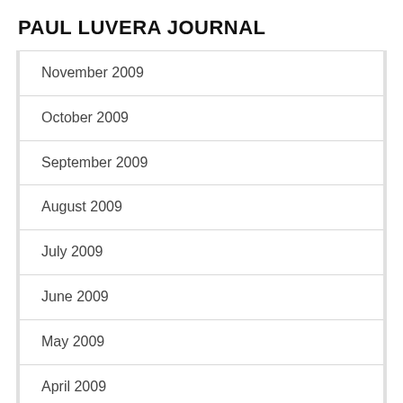PAUL LUVERA JOURNAL
November 2009
October 2009
September 2009
August 2009
July 2009
June 2009
May 2009
April 2009
March 2009
February 2009